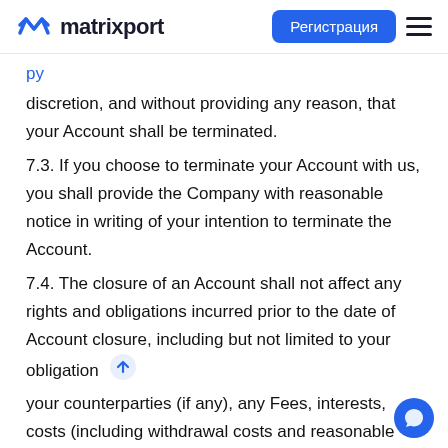matrixport — Регистрация
discretion, and without providing any reason, that your Account shall be terminated.
7.3. If you choose to terminate your Account with us, you shall provide the Company with reasonable notice in writing of your intention to terminate the Account.
7.4. The closure of an Account shall not affect any rights and obligations incurred prior to the date of Account closure, including but not limited to your obligation your counterparties (if any), any Fees, interests, costs (including withdrawal costs and reasonable legal costs) and expenses.
7.5. You agree that the Company shall have the right to deduct or set-off your outstanding liabilities from your